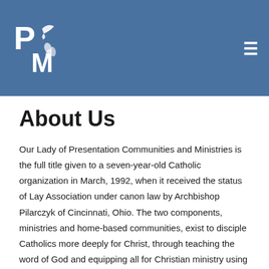[Figure (logo): PM logo — stylized letters P and M with a dove and leaf emblem in white on a steel-blue rectangular background header. Hamburger menu icon in top right.]
About Us
Our Lady of Presentation Communities and Ministries is the full title given to a seven-year-old Catholic organization in March, 1992, when it received the status of Lay Association under canon law by Archbishop Pilarczyk of Cincinnati, Ohio. The two components, ministries and home-based communities, exist to disciple Catholics more deeply for Christ, through teaching the word of God and equipping all for Christian ministry using the